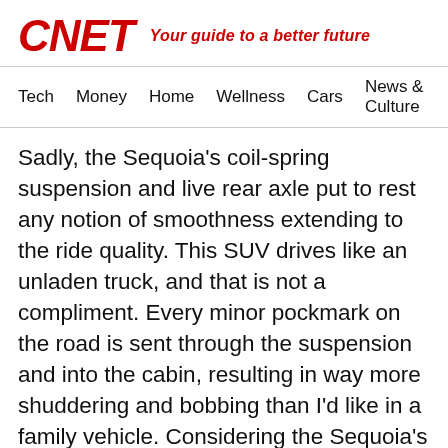CNET — Your guide to a better future
Tech   Money   Home   Wellness   Cars   News & Culture
Sadly, the Sequoia's coil-spring suspension and live rear axle put to rest any notion of smoothness extending to the ride quality. This SUV drives like an unladen truck, and that is not a compliment. Every minor pockmark on the road is sent through the suspension and into the cabin, resulting in way more shuddering and bobbing than I'd like in a family vehicle. Considering the Sequoia's pricing can stretch from about $60,000 all the way up to almost $80,000, I'd really like to see some adaptive dampers or air